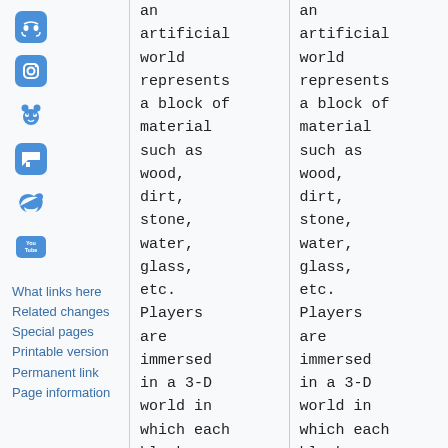[Figure (logo): Discord icon - blue rounded square with controller/headset icon]
[Figure (logo): Instagram icon - blue rounded square with camera icon]
[Figure (logo): Reddit icon - blue alien/robot mascot]
[Figure (logo): Twitch icon - blue speech bubble with controller icon]
[Figure (logo): Twitter icon - blue bird logo]
[Figure (logo): YouTube icon - blue rounded square with 'You Tube' text]
What links here
Related changes
Special pages
Printable version
Permanent link
Page information
an artificial world represents a block of material such as wood, dirt, stone, water, glass, etc. Players are immersed in a 3-D world in which each block can be mined, chopped,
an artificial world represents a block of material such as wood, dirt, stone, water, glass, etc. Players are immersed in a 3-D world in which each block can be mined, chopped,